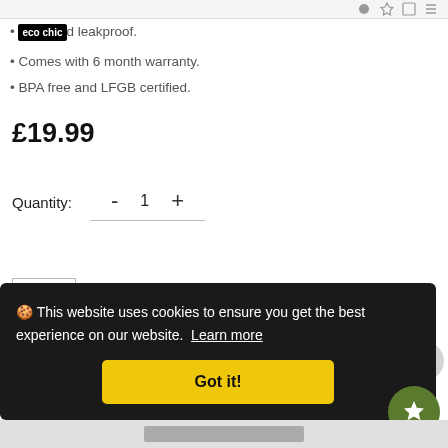eco chic website header navigation
eco chic and leakproof.
Comes with 6 month warranty.
BPA free and LFGB certified.
£19.99
Quantity: - 1 +
[Figure (other): Wishlist heart icon button in square border]
🍪 This website uses cookies to ensure you get the best experience on our website. Learn more
Got it!